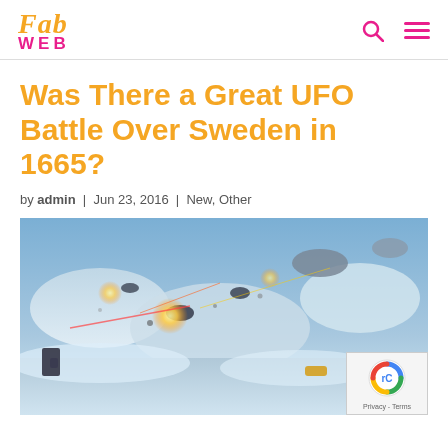FabWeb logo with search and menu icons
Was There a Great UFO Battle Over Sweden in 1665?
by admin | Jun 23, 2016 | New, Other
[Figure (illustration): Fantasy battle scene with spacecraft and explosions over a snowy or cloudy landscape, resembling a Star Wars-style space battle]
[Figure (logo): reCAPTCHA badge with Privacy - Terms text]